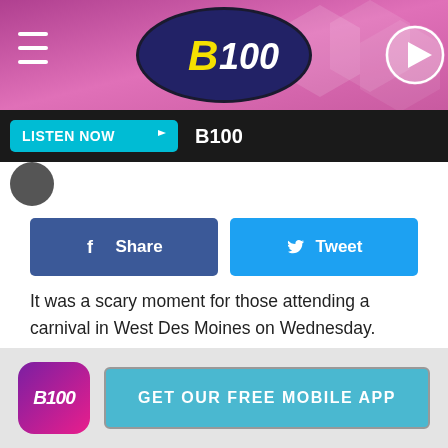[Figure (logo): B100 radio station header banner with pink hexagon background, B100 logo in center, hamburger menu icon on left, play button on right]
[Figure (screenshot): LISTEN NOW button bar with B100 station name on dark background]
It was a scary moment for those attending a carnival in West Des Moines on Wednesday. Shots rang out at the carnival and police are searching for answers leading to the person who shot the gun and sent people fleeing. A terrifying video shows the moment that shots were fired and people fled.
[Figure (infographic): App download banner with B100 app icon and GET OUR FREE MOBILE APP button]